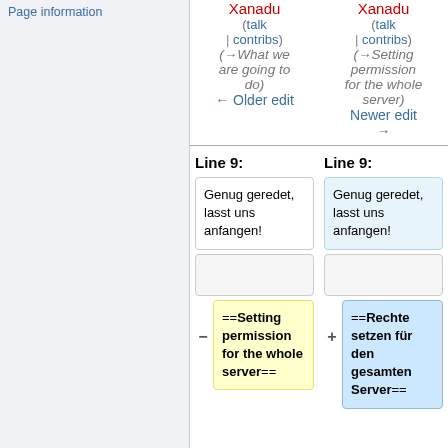Page information
Xanadu (talk | contribs) (→What we are going to do) ← Older edit
Xanadu (talk | contribs) (→Setting permission for the whole server) Newer edit →
Line 9:
Line 9:
Genug geredet, lasst uns anfangen!
Genug geredet, lasst uns anfangen!
==Setting permission for the whole server==
==Rechte setzen für den gesamten Server==